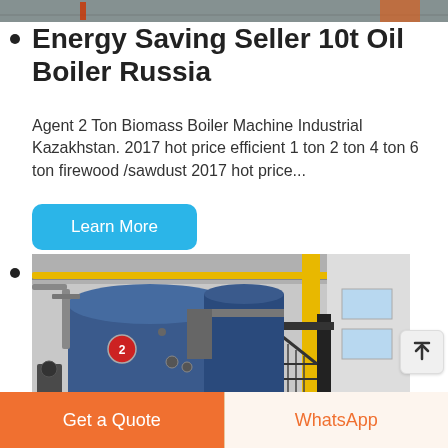[Figure (photo): Top strip of an industrial boiler facility image, partially visible at top of page]
Energy Saving Seller 10t Oil Boiler Russia
Agent 2 Ton Biomass Boiler Machine Industrial Kazakhstan. 2017 hot price efficient 1 ton 2 ton 4 ton 6 ton firewood /sawdust 2017 hot price...
[Figure (other): Learn More button — blue rounded rectangle]
[Figure (photo): Industrial boiler room with large blue cylindrical boilers, yellow pipes, black metal staircases, and white columns inside a factory building]
[Figure (other): Scroll-to-top button with upward arrow]
Get a Quote
WhatsApp